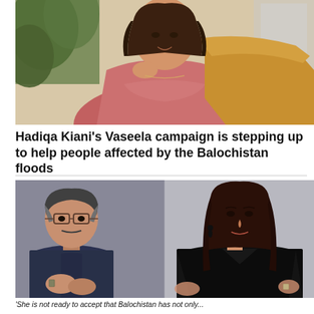[Figure (photo): Photo of a woman (Hadiqa Kiani) wearing a pink embroidered outfit with a yellow/mustard dupatta, sitting against a green plant background]
Hadiqa Kiani's Vaseela campaign is stepping up to help people affected by the Balochistan floods
[Figure (photo): Split photo: left side shows an older man in a dark navy kurta speaking/gesturing with his hands; right side shows a young woman with long dark hair wearing a black leather shirt, standing with hands on hips]
'She is not ready to accept that Balochistan has not only...